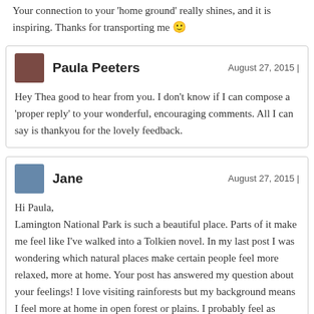Your connection to your 'home ground' really shines, and it is inspiring. Thanks for transporting me 🙂
Paula Peeters — August 27, 2015 | Hey Thea good to hear from you. I don't know if I can compose a 'proper reply' to your wonderful, encouraging comments. All I can say is thankyou for the lovely feedback.
Jane — August 27, 2015 | Hi Paula, Lamington National Park is such a beautiful place. Parts of it make me feel like I've walked into a Tolkien novel. In my last post I was wondering which natural places make certain people feel more relaxed, more at home. Your post has answered my question about your feelings! I love visiting rainforests but my background means I feel more at home in open forest or plains. I probably feel as intensely about the red spinifex country out west as you do about the lush rainforests. 🙂 Well, if you feel that tree identification in SE Queensland is very tricky,